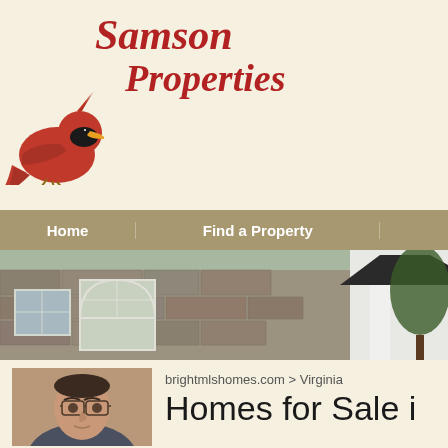[Figure (logo): Samson Properties logo with red cardinal bird and italic red serif text reading 'Samson Properties']
Home | Find a Property |
[Figure (photo): Stone house exterior with arched windows and white columns, banner photograph]
[Figure (photo): Headshot of a man with glasses in professional attire]
brightmlshomes.com > Virginia
Homes for Sale i